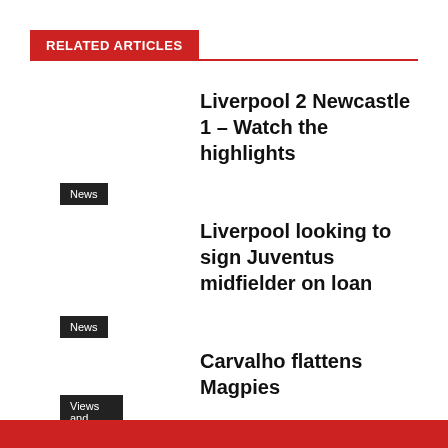RELATED ARTICLES
Liverpool 2 Newcastle 1 – Watch the highlights
News
Liverpool looking to sign Juventus midfielder on loan
News
Carvalho flattens Magpies
Views and Opinions